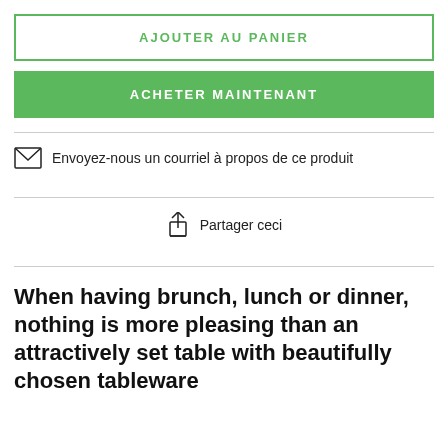AJOUTER AU PANIER
ACHETER MAINTENANT
Envoyez-nous un courriel à propos de ce produit
Partager ceci
When having brunch, lunch or dinner, nothing is more pleasing than an attractively set table with beautifully chosen tableware